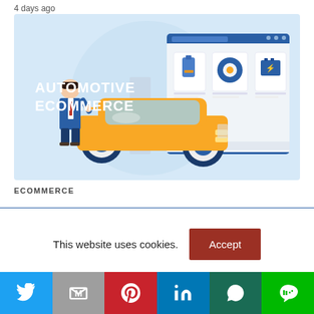4 days ago
[Figure (illustration): Automotive ecommerce illustration showing a person in a blue suit standing next to an orange car, with a browser window showing automotive parts (oil, tire, battery) on a light blue background. Text reads 'AUTOMOTIVE ECOMMERCE'.]
ECOMMERCE
This website uses cookies.
Social share buttons: Twitter, Gmail, Pinterest, LinkedIn, WhatsApp, Line